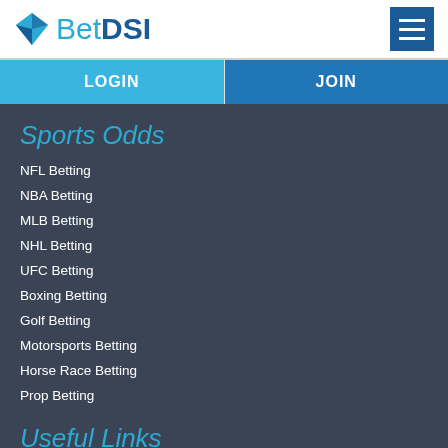[Figure (logo): BetDSI logo with blue diamond icon and text 'BetDSI']
[Figure (other): Hamburger menu icon, dark blue square with three white horizontal lines]
LOGIN
JOIN
Sports Odds
NFL Betting
NBA Betting
MLB Betting
NHL Betting
UFC Betting
Boxing Betting
Golf Betting
Motorsports Betting
Horse Race Betting
Prop Betting
Useful Links
Account Registration
Member Login